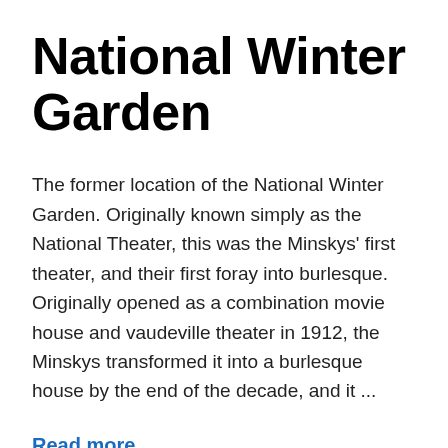National Winter Garden
The former location of the National Winter Garden. Originally known simply as the National Theater, this was the Minskys' first theater, and their first foray into burlesque. Originally opened as a combination movie house and vaudeville theater in 1912, the Minskys transformed it into a burlesque house by the end of the decade, and it ...
Read more